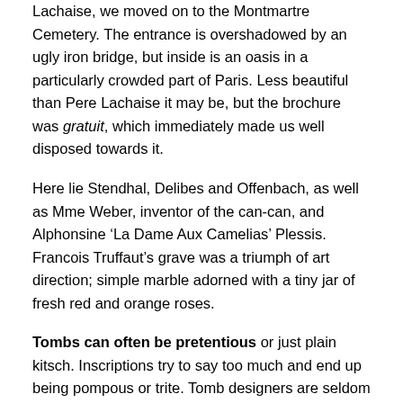Lachaise, we moved on to the Montmartre Cemetery. The entrance is overshadowed by an ugly iron bridge, but inside is an oasis in a particularly crowded part of Paris. Less beautiful than Pere Lachaise it may be, but the brochure was gratuit, which immediately made us well disposed towards it.
Here lie Stendhal, Delibes and Offenbach, as well as Mme Weber, inventor of the can-can, and Alphonsine ‘La Dame Aux Camelias’ Plessis. Francois Truffaut’s grave was a triumph of art direction; simple marble adorned with a tiny jar of fresh red and orange roses.
Tombs can often be pretentious or just plain kitsch. Inscriptions try to say too much and end up being pompous or trite. Tomb designers are seldom artists of the same calibre as the famous departed. There are exceptions: there’s a lovely statue of a little girl on Gustave